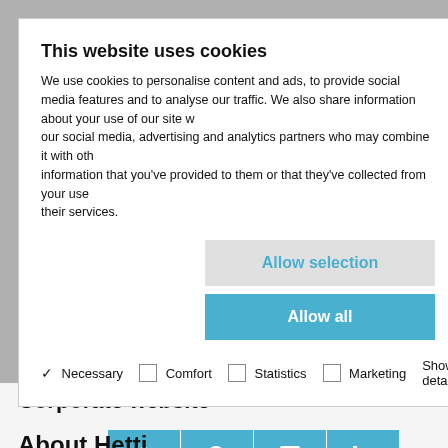This website uses cookies
We use cookies to personalise content and ads, to provide social media features and to analyse our traffic. We also share information about your use of our site with our social media, advertising and analytics partners who may combine it with other information that you've provided to them or that they've collected from your use of their services.
Allow selection
Allow all
✓ Necessary  □ Comfort  □ Statistics  □ Marketing  Show details
Corporate website
[Figure (screenshot): Navigation bar with four icons: Contact us, Enquiry, Catalogues, eShop on a teal/blue background, plus an up-arrow button]
About Hetti…